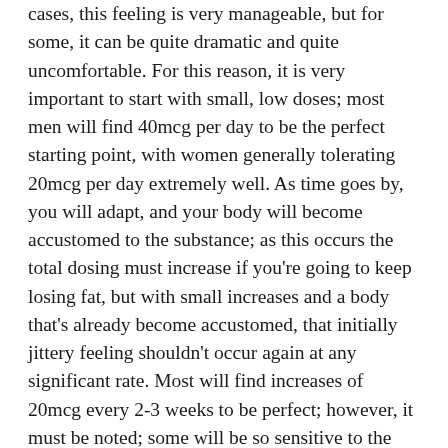cases, this feeling is very manageable, but for some, it can be quite dramatic and quite uncomfortable. For this reason, it is very important to start with small, low doses; most men will find 40mcg per day to be the perfect starting point, with women generally tolerating 20mcg per day extremely well. As time goes by, you will adapt, and your body will become accustomed to the substance; as this occurs the total dosing must increase if you're going to keep losing fat, but with small increases and a body that's already become accustomed, that initially jittery feeling shouldn't occur again at any significant rate. Most will find increases of 20mcg every 2-3 weeks to be perfect; however, it must be noted; some will be so sensitive to the stimulation they cannot supplement.
While the jittery and shaky feeling is the primary of all stimulating Clenbuterol side-effects, there is one more that can be beyond annoying; insomnia. For this reason, it is very important you supplement with most of your